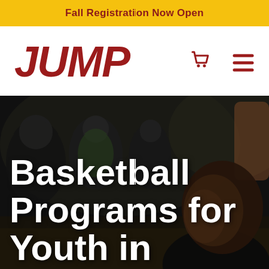Fall Registration Now Open
[Figure (logo): JUMP BASKETBALL logo in bold red italic text with 'BASKETBALL' in small caps beneath]
[Figure (photo): Basketball gym scene with blurred players/children in the background and a young boy in the foreground right side, dark atmospheric lighting]
Basketball Programs for Youth in